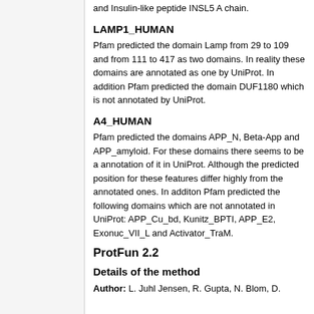and Insulin-like peptide INSL5 A chain.
LAMP1_HUMAN
Pfam predicted the domain Lamp from 29 to 109 and from 111 to 417 as two domains. In reality these domains are annotated as one by UniProt. In addition Pfam predicted the domain DUF1180 which is not annotated by UniProt.
A4_HUMAN
Pfam predicted the domains APP_N, Beta-App and APP_amyloid. For these domains there seems to be a annotation of it in UniProt. Although the predicted position for these features differ highly from the annotated ones. In additon Pfam predicted the following domains which are not annotated in UniProt: APP_Cu_bd, Kunitz_BPTI, APP_E2, Exonuc_VII_L and Activator_TraM.
ProtFun 2.2
Details of the method
Author: L. Juhl Jensen, R. Gupta, N. Blom, D.